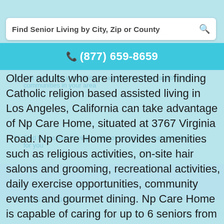[Figure (screenshot): Search bar UI element with text 'Find Senior Living by City, Zip or County' and a magnifying glass icon on the right, on a white background with light blue teal background behind.]
[Figure (screenshot): Teal call-to-action bar showing phone number (877) 659-8659 with a phone/calculator icon.]
Older adults who are interested in finding Catholic religion based assisted living in Los Angeles, California can take advantage of Np Care Home, situated at 3767 Virginia Road. Np Care Home provides amenities such as religious activities, on-site hair salons and grooming, recreational activities, daily exercise opportunities, community events and gourmet dining. Np Care Home is capable of caring for up to 6 seniors from 90016 zip code in Los Angeles county and nearby areas. Np Care Home has an active license to offer assisted living in Los Angeles, California License number: 198602263.